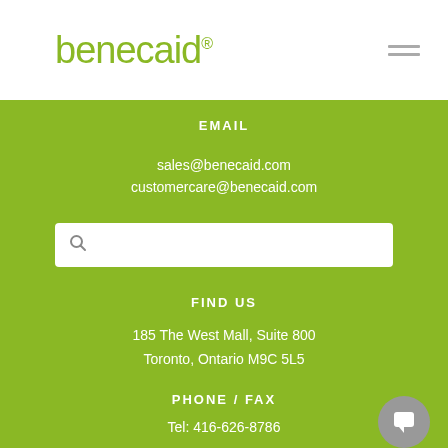[Figure (logo): Benecaid logo in olive green with registered trademark symbol]
EMAIL
sales@benecaid.com
customercare@benecaid.com
FIND US
185 The West Mall, Suite 800
Toronto, Ontario M9C 5L5
PHONE / FAX
Tel: 416-626-8786